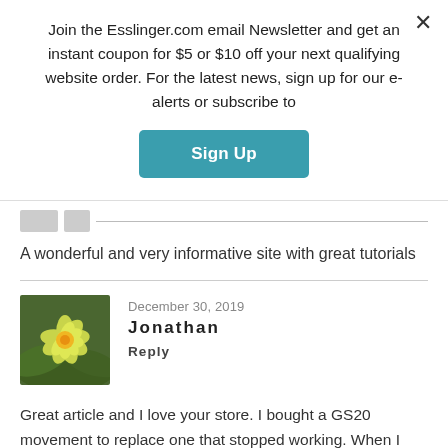Join the Esslinger.com email Newsletter and get an instant coupon for $5 or $10 off your next qualifying website order. For the latest news, sign up for our e-alerts or subscribe to
Sign Up
A wonderful and very informative site with great tutorials
December 30, 2019
Jonathan
Reply
Great article and I love your store. I bought a GS20 movement to replace one that stopped working. When I tried to install the hour hand, the new one came out it would best fit a rail and to